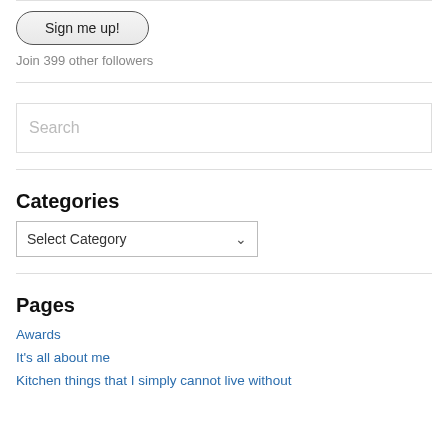[Figure (screenshot): Sign me up! button - rounded rectangle button with gradient background]
Join 399 other followers
[Figure (screenshot): Search input box with placeholder text 'Search']
Categories
[Figure (screenshot): Select Category dropdown]
Pages
Awards
It's all about me
Kitchen things that I simply cannot live without